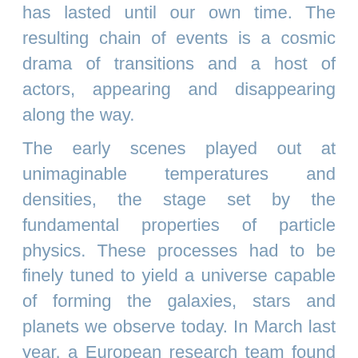has lasted until our own time. The resulting chain of events is a cosmic drama of transitions and a host of actors, appearing and disappearing along the way.
The early scenes played out at unimaginable temperatures and densities, the stage set by the fundamental properties of particle physics. These processes had to be finely tuned to yield a universe capable of forming the galaxies, stars and planets we observe today. In March last year, a European research team found evidence of ancient microwave noise that supports the big bang